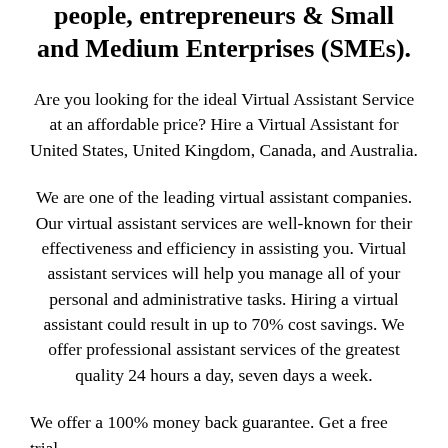people, entrepreneurs & Small and Medium Enterprises (SMEs).
Are you looking for the ideal Virtual Assistant Service at an affordable price? Hire a Virtual Assistant for United States, United Kingdom, Canada, and Australia.
We are one of the leading virtual assistant companies. Our virtual assistant services are well-known for their effectiveness and efficiency in assisting you. Virtual assistant services will help you manage all of your personal and administrative tasks. Hiring a virtual assistant could result in up to 70% cost savings. We offer professional assistant services of the greatest quality 24 hours a day, seven days a week.
We offer a 100% money back guarantee. Get a free trial.